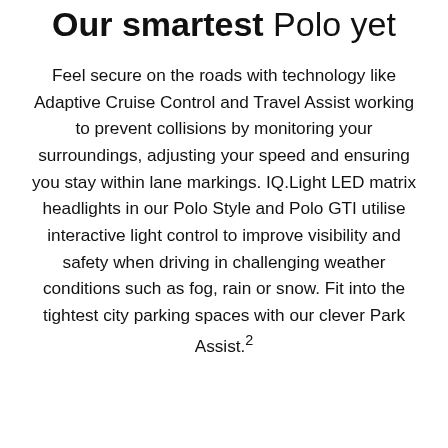Our smartest Polo yet
Feel secure on the roads with technology like Adaptive Cruise Control and Travel Assist working to prevent collisions by monitoring your surroundings, adjusting your speed and ensuring you stay within lane markings. IQ.Light LED matrix headlights in our Polo Style and Polo GTI utilise interactive light control to improve visibility and safety when driving in challenging weather conditions such as fog, rain or snow. Fit into the tightest city parking spaces with our clever Park Assist.²